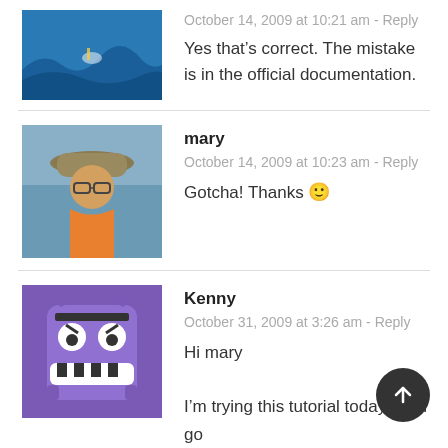[Figure (photo): Avatar image of a surfer/wave]
October 14, 2009 at 10:21 am - Reply
Yes that’s correct. The mistake is in the official documentation.
mary
[Figure (photo): Avatar photo of mary, person wearing a hat outdoors]
October 14, 2009 at 10:23 am - Reply
Gotcha! Thanks 🙂
Kenny
[Figure (illustration): Avatar illustration of Kenny, a purple cartoon monster character]
October 31, 2009 at 3:26 am - Reply
Hi mary
I’m trying this tutorial today, but I got kinda stuck.
The verification image didn’t show